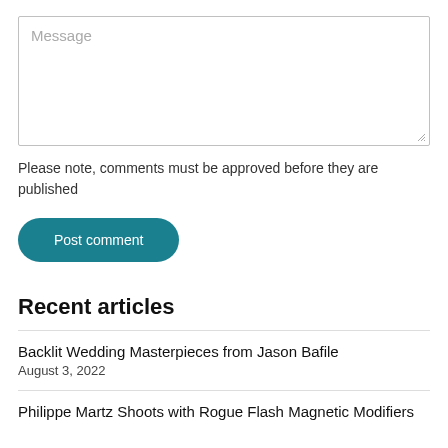[Figure (screenshot): Message textarea input box with placeholder text 'Message' and resize handle in bottom right corner]
Please note, comments must be approved before they are published
Post comment
Recent articles
Backlit Wedding Masterpieces from Jason Bafile
August 3, 2022
Philippe Martz Shoots with Rogue Flash Magnetic Modifiers